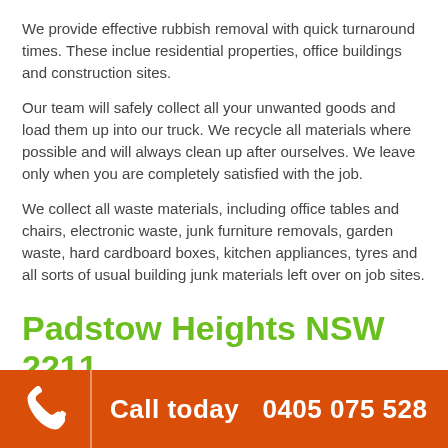We provide effective rubbish removal with quick turnaround times. These inclue residential properties, office buildings and construction sites.
Our team will safely collect all your unwanted goods and load them up into our truck. We recycle all materials where possible and will always clean up after ourselves. We leave only when you are completely satisfied with the job.
We collect all waste materials, including office tables and chairs, electronic waste, junk furniture removals, garden waste, hard cardboard boxes, kitchen appliances, tyres and all sorts of usual building junk materials left over on job sites.
Padstow Heights NSW 2211 Junk & Waste Experts
Call today  0405 075 528